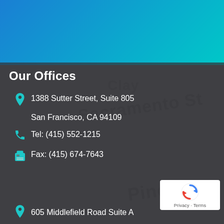[Figure (screenshot): Top gradient banner with blue to teal gradient]
Our Offices
1388 Sutter Street, Suite 805
San Francisco, CA 94109
Tel: (415) 552-1215
Fax: (415) 674-7643
605 Middlefield Road Suite A
[Figure (screenshot): Google reCAPTCHA badge with circular arrow logo and Privacy / Terms text]